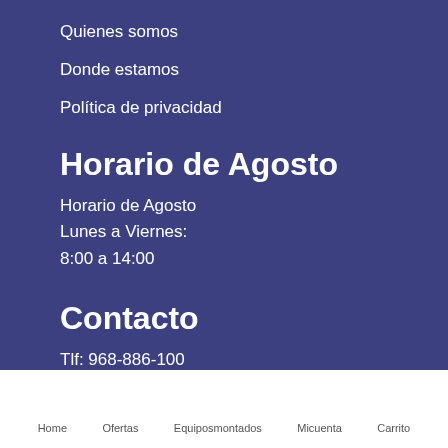Quienes somos
Donde estamos
Política de privacidad
Horario de Agosto
Horario de Agosto
Lunes a Viernes:
8:00 a 14:00
Contacto
Tlf: 968-886-100
Email: info@europeanpc.es
Home   Ofertas   Equiposmontados   Micuenta   Carrito